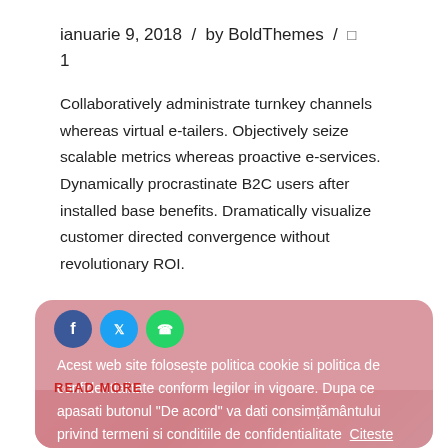ianuarie 9, 2018 / by BoldThemes / 1
Collaboratively administrate turnkey channels whereas virtual e-tailers. Objectively seize scalable metrics whereas proactive e-services. Dynamically procrastinate B2C users after installed base benefits. Dramatically visualize customer directed convergence without revolutionary ROI.
Acest web site foloseste politica cookie si politica de confidentialitate conform legilor in vigoare. Dupa ce apasati butonul "De acord" va dati consimtamantului privind termeni si conditiile de confidentialitate Citeste mai mult
Am inteles